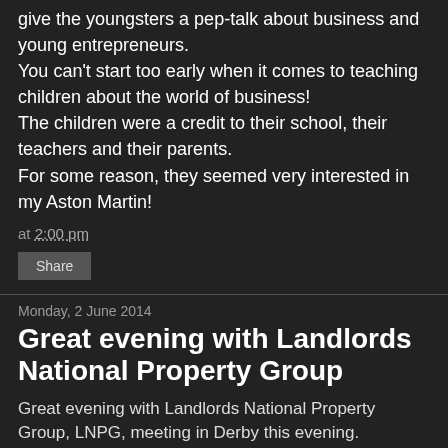give the youngsters a pep-talk about business and young entrepreneurs.
You can't start too early when it comes to teaching children about the world of business!
The children were a credit to their school, their teachers and their parents.
For some reason, they seemed very interested in my Aston Martin!
at 2:00 pm
Share
Monday, 2 June 2014
Great evening with Landlords National Property Group
Great evening with Landlords National Property Group, LNPG, meeting in Derby this evening.
I was the guest speaker for the evening and it was great to meet friends old and new.